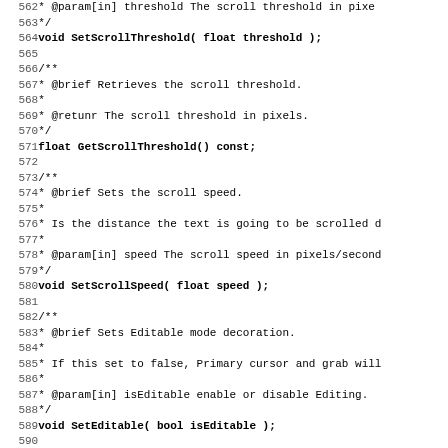Source code listing, lines 562-594, showing C++ API documentation comments and method declarations for scroll and editable functionality.